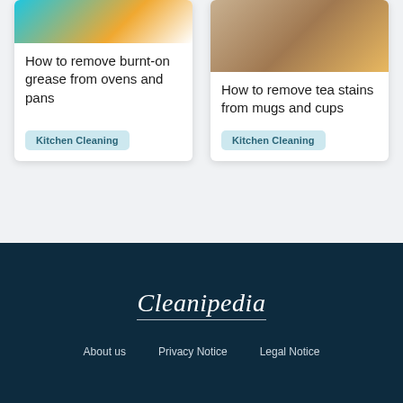[Figure (photo): Top portion of a card showing cooking-related items on a teal/blue background with oranges and kitchen utensils]
How to remove burnt-on grease from ovens and pans
Kitchen Cleaning
[Figure (photo): Top portion of a card showing cookies, a mug and cups on a table]
How to remove tea stains from mugs and cups
Kitchen Cleaning
[Figure (logo): Cleanipedia logo in white cursive/script text on dark navy background]
About us   Privacy Notice   Legal Notice